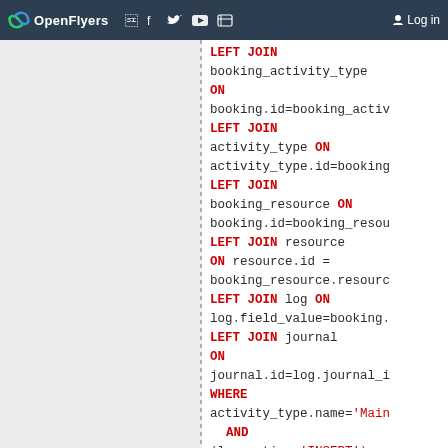OpenFlyers | Log in
SQL code snippet showing LEFT JOINs:
LEFT JOIN booking_activity_type ON booking.id=booking_activ...
LEFT JOIN activity_type ON activity_type.id=booking...
LEFT JOIN booking_resource ON booking.id=booking_resou...
LEFT JOIN resource ON resource.id = booking_resource.resourc...
LEFT JOIN log ON log.field_value=booking...
LEFT JOIN journal ON journal.id=log.journal_i...
WHERE activity_type.name='Main...
  AND (log.action='INSERT')
  AND (log.TABLE_NAME='booking...
  AND (log.field_name='id')
  AND